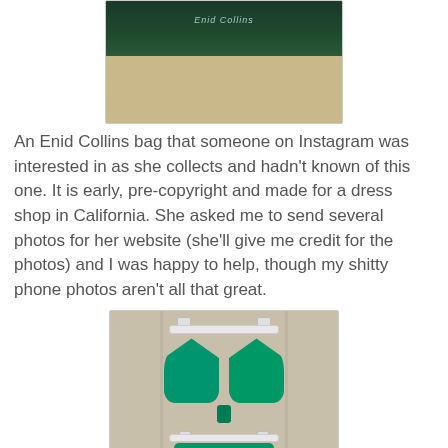[Figure (photo): Photo of an Enid Collins bag – a dark green box bag with decorative top featuring starfish and shell decorations, studs along the bottom edge of the lid]
An Enid Collins bag that someone on Instagram was interested in as she collects and hadn't known of this one. It is early, pre-copyright and made for a dress shop in California. She asked me to send several photos for her website (she'll give me credit for the photos) and I was happy to help, though my shitty phone photos aren't all that great.
[Figure (photo): Photo of a green bikini set hanging on white plastic hangers against a beige/grey door background. The bikini top has a deep V-neck with a tie at the center bottom, and the bottom piece has side ties.]